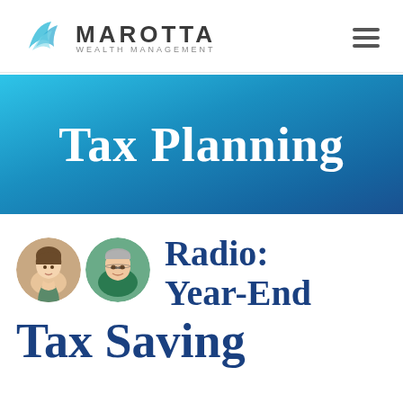[Figure (logo): Marotta Wealth Management logo with teal bird/wave graphic and company name]
Tax Planning
[Figure (photo): Two circular portrait photos of Marotta Wealth Management personnel - a young woman smiling and an older man with glasses]
Radio: Year-End Tax Saving